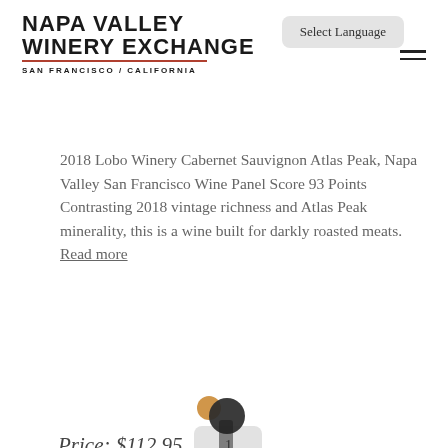NAPA VALLEY WINERY EXCHANGE SAN FRANCISCO / CALIFORNIA
Select Language
2018 Lobo Winery Cabernet Sauvignon Atlas Peak, Napa Valley San Francisco Wine Panel Score 93 Points Contrasting 2018 vintage richness and Atlas Peak minerality, this is a wine built for darkly roasted meats. Read more
Price: $112.95
1
Buy
[Figure (illustration): Scroll-to-top arrow button (orange/red square with upward chevron)]
[Figure (illustration): Partial wine bottle icon at bottom of page]